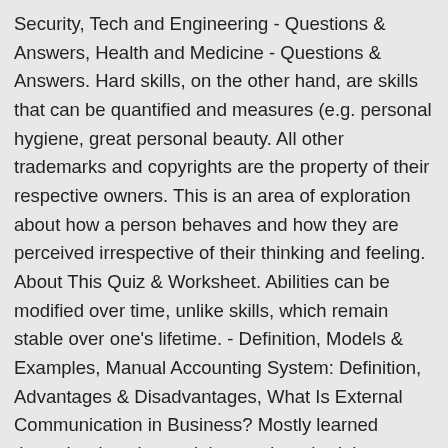Security, Tech and Engineering - Questions & Answers, Health and Medicine - Questions & Answers. Hard skills, on the other hand, are skills that can be quantified and measures (e.g. personal hygiene, great personal beauty. All other trademarks and copyrights are the property of their respective owners. This is an area of exploration about how a person behaves and how they are perceived irrespective of their thinking and feeling. About This Quiz & Worksheet. Abilities can be modified over time, unlike skills, which remain stable over one's lifetime. - Definition, Models & Examples, Manual Accounting System: Definition, Advantages & Disadvantages, What Is External Communication in Business? Mostly learned through education, training, and on-the-job experience, hard skills can include computer literacy, project management, editing, or proficiency in a foreign language. Log in here for access. When you are exploring a career change, having a list of personal skills. Personal skills may also include creative, leadership, linguistic and analytical skills. - Definition & Examples, External Factors of a Business: Definition & Explanation, What Is Strategic Change Management? Get access risk-free for 30